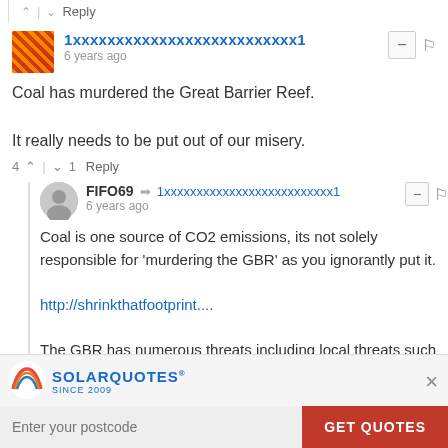^ | v  Reply
1xxxxxxxxxxxxxxxxxxxxxxxxxx1
6 years ago
Coal has murdered the Great Barrier Reef.

It really needs to be put out of our misery.
4 ^ | v 1  Reply
FIFO69 → 1xxxxxxxxxxxxxxxxxxxxxxxxxx1
6 years ago
Coal is one source of CO2 emissions, its not solely responsible for 'murdering the GBR' as you ignorantly put it.

http://shrinkthatfootprint....

The GBR has numerous threats including local threats such as high nutrient and sediment runoff from poor local
[Figure (logo): SolarQuotes since 2009 logo with rainbow arch]